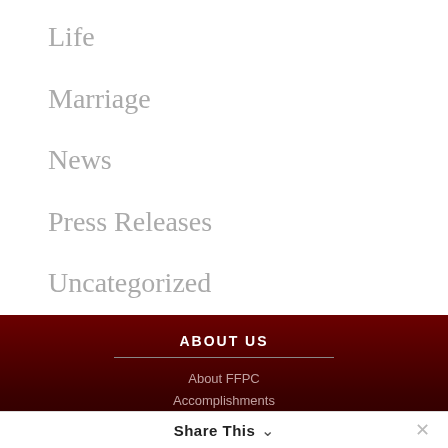Life
Marriage
News
Press Releases
Uncategorized
Updates
Updates from John
ABOUT US
About FFPC
Accomplishments
Share This ✓  ✕